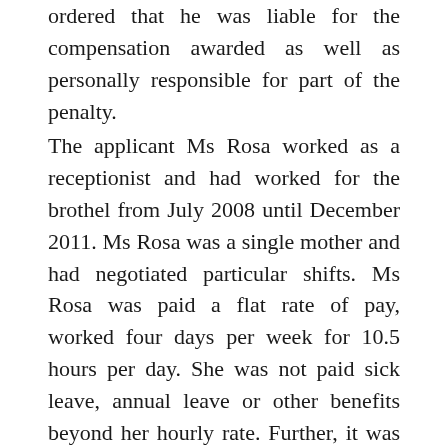ordered that he was liable for the compensation awarded as well as personally responsible for part of the penalty.
The applicant Ms Rosa worked as a receptionist and had worked for the brothel from July 2008 until December 2011. Ms Rosa was a single mother and had negotiated particular shifts. Ms Rosa was paid a flat rate of pay, worked four days per week for 10.5 hours per day. She was not paid sick leave, annual leave or other benefits beyond her hourly rate. Further, it was noted she did not take her breaks, nor was she paid applicable